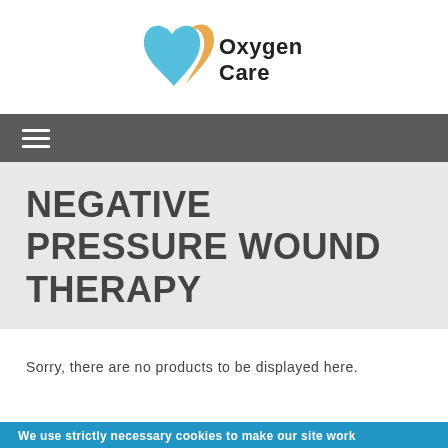[Figure (logo): Oxygen Care logo with heart shape in blue and orange, text reads Oxygen Care]
NEGATIVE PRESSURE WOUND THERAPY
Sorry, there are no products to be displayed here.
We use strictly necessary cookies to make our site work